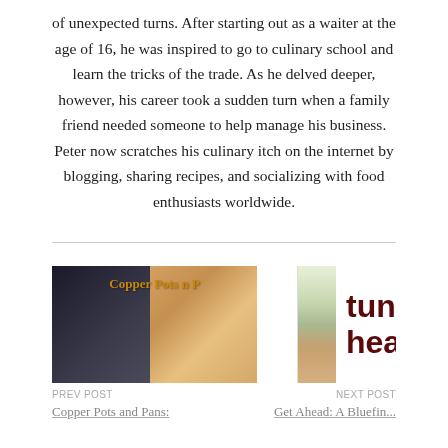of unexpected turns. After starting out as a waiter at the age of 16, he was inspired to go to culinary school and learn the tricks of the trade. As he delved deeper, however, his career took a sudden turn when a family friend needed someone to help manage his business. Peter now scratches his culinary itch on the internet by blogging, sharing recipes, and socializing with food enthusiasts worldwide.
[Figure (photo): Image of Copper Pots n Pans blog logo or header image]
[Figure (photo): Image showing tuna head text with a food photo]
PREV POST
Copper Pots and Pans:
NEXT POST
Get Ahead: A Bluefin...